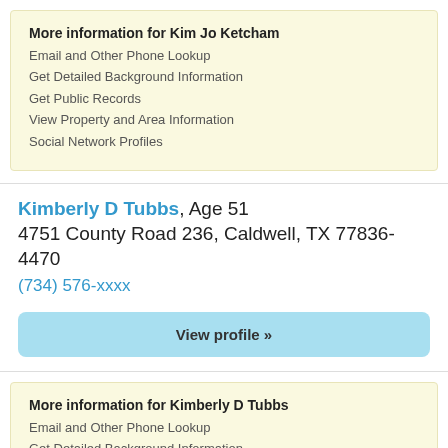More information for Kim Jo Ketcham
Email and Other Phone Lookup
Get Detailed Background Information
Get Public Records
View Property and Area Information
Social Network Profiles
Kimberly D Tubbs, Age 51
4751 County Road 236, Caldwell, TX 77836-4470
(734) 576-xxxx
View profile »
More information for Kimberly D Tubbs
Email and Other Phone Lookup
Get Detailed Background Information
Get Public Records